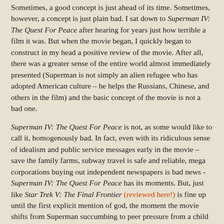Sometimes, a good concept is just ahead of its time. Sometimes, however, a concept is just plain bad. I sat down to Superman IV: The Quest For Peace after hearing for years just how terrible a film it was. But when the movie began, I quickly began to construct in my head a positive review of the movie. After all, there was a greater sense of the entire world almost immediately presented (Superman is not simply an alien refugee who has adopted American culture – he helps the Russians, Chinese, and others in the film) and the basic concept of the movie is not a bad one.
Superman IV: The Quest For Peace is not, as some would like to call it, homogenously bad. In fact, even with its ridiculous sense of idealism and public service messages early in the movie – save the family farms, subway travel is safe and reliable, mega corporations buying out independent newspapers is bad news - Superman IV: The Quest For Peace has its moments. But, just like Star Trek V: The Final Frontier (reviewed here!) is fine up until the first explicit mention of god, the moment the movie shifts from Superman succumbing to peer pressure from a child to end the nuclear arms race to Lex Luthor's plot to create Nuclear Man, Superman IV: The Quest For Peace takes a downturn into